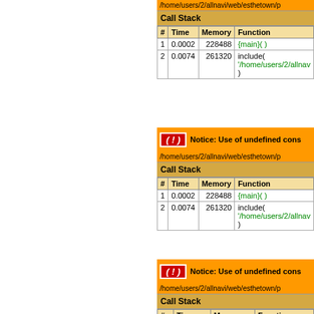/home/users/2/allnavi/web/esthetown/...
Call Stack
| # | Time | Memory | Function |
| --- | --- | --- | --- |
| 1 | 0.0002 | 228488 | {main}( ) |
| 2 | 0.0074 | 261320 | include(
'/home/users/2/allnav...
) |
( ! )  Notice: Use of undefined cons...
/home/users/2/allnavi/web/esthetown/...
Call Stack
| # | Time | Memory | Function |
| --- | --- | --- | --- |
| 1 | 0.0002 | 228488 | {main}( ) |
| 2 | 0.0074 | 261320 | include(
'/home/users/2/allnav...
) |
( ! )  Notice: Use of undefined cons...
/home/users/2/allnavi/web/esthetown/...
Call Stack
| # | Time | Memory | Function |
| --- | --- | --- | --- |